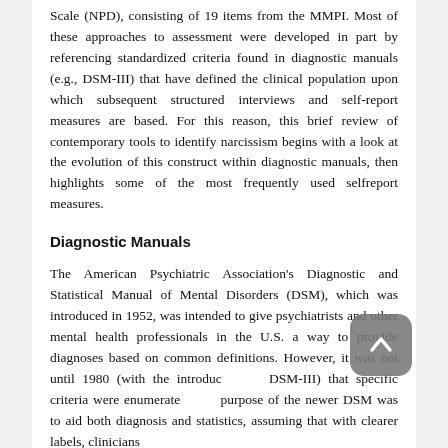Scale (NPD), consisting of 19 items from the MMPI. Most of these approaches to assessment were developed in part by referencing standardized criteria found in diagnostic manuals (e.g., DSM-III) that have defined the clinical population upon which subsequent structured interviews and self-report measures are based. For this reason, this brief review of contemporary tools to identify narcissism begins with a look at the evolution of this construct within diagnostic manuals, then highlights some of the most frequently used selfreport measures.
Diagnostic Manuals
The American Psychiatric Association's Diagnostic and Statistical Manual of Mental Disorders (DSM), which was introduced in 1952, was intended to give psychiatrists and other mental health professionals in the U.S. a way to provide diagnoses based on common definitions. However, it was not until 1980 (with the introduction of DSM-III) that specific criteria were enumerated. The purpose of the newer DSM was to aid both diagnosis and statistics, assuming that with clearer labels, clinicians